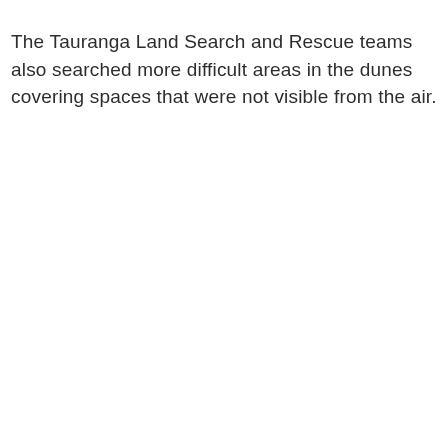The Tauranga Land Search and Rescue teams also searched more difficult areas in the dunes covering spaces that were not visible from the air.